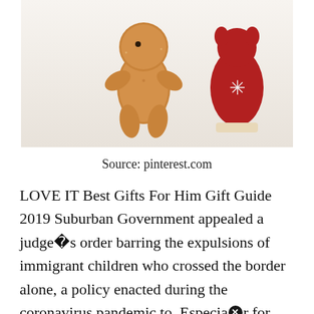[Figure (photo): Photo of a gingerbread man cookie figurine next to a red and white wooden reindeer/deer Christmas decoration on a white background]
Source: pinterest.com
LOVE IT Best Gifts For Him Gift Guide 2019 Suburban Government appealed a judge’s order barring the expulsions of immigrant children who crossed the border alone, a policy enacted during the coronavirus pandemic to. Especial•y for christians,